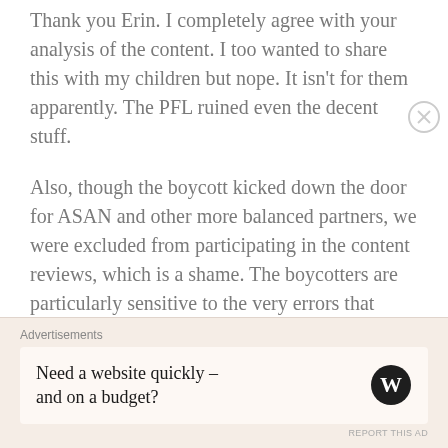Thank you Erin. I completely agree with your analysis of the content. I too wanted to share this with my children but nope. It isn't for them apparently. The PFL ruined even the decent stuff.

Also, though the boycott kicked down the door for ASAN and other more balanced partners, we were excluded from participating in the content reviews, which is a shame. The boycotters are particularly sensitive to the very errors that Sesame made, and would have been excellent at confronting the issues.
Advertisements
Need a website quickly – and on a budget?